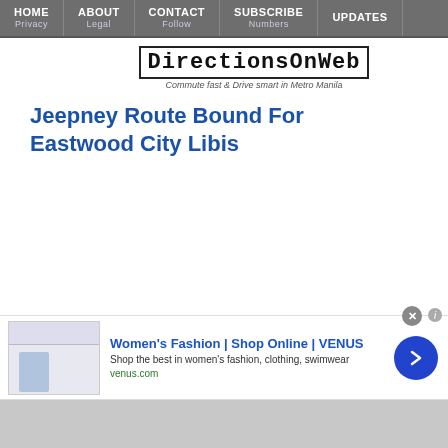HOME | Privacy | ABOUT | Legal | CONTACT | Follow | SUBSCRIBE | Numbers | UPDATES
[Figure (logo): DirectionsOnWeb logo with tagline: Commute fast & Drive smart in Metro Manila]
Jeepney Route Bound For Eastwood City Libis
[Figure (screenshot): Advertisement: Women's Fashion | Shop Online | VENUS. Shop the best in women's fashion, clothing, swimwear. venus.com]